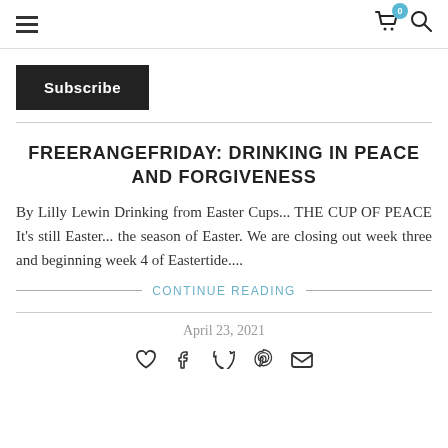Navigation header with hamburger menu, cart icon (badge: 0), and search icon
Subscribe
FREERANGEFRIDAY: DRINKING IN PEACE AND FORGIVENESS
By Lilly Lewin Drinking from Easter Cups... THE CUP OF PEACE It's still Easter... the season of Easter. We are closing out week three and beginning week 4 of Eastertide....
CONTINUE READING
April 23, 2021
[Figure (other): Social sharing icons: heart, facebook, twitter, pinterest, email]